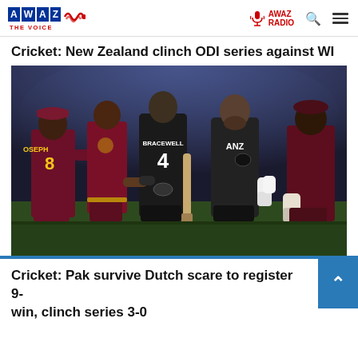AWAZ THE VOICE — AWAZ RADIO
Cricket: New Zealand clinch ODI series against WI
[Figure (photo): Cricket players from New Zealand (in black, including BRACEWELL #4 and ANZ-sponsored player) shaking hands with West Indies players (in maroon, including JOSEPH #8) on the cricket field after a match.]
Cricket: Pak survive Dutch scare to register 9-win, clinch series 3-0